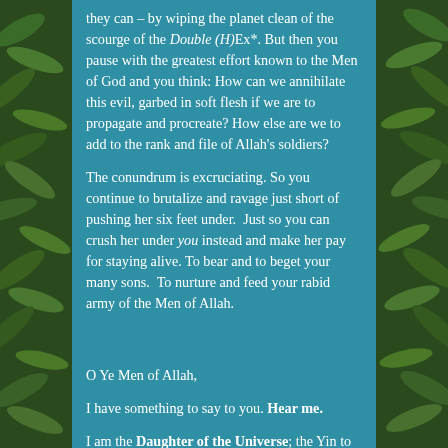[Figure (photo): Decorative photo strips of green leaves/foliage on left and right edges of the page, with a teal/blue background in the center text area.]
they can – by wiping the planet clean of the scourge of the Double (H)Ex*. But then you pause with the greatest effort known to the Men of God and you think: How can we annihilate this evil, garbed in soft flesh if we are to propagate and procreate? How else are we to add to the rank and file of Allah's soldiers?

The conundrum is excruciating. So you continue to brutalize and ravage just short of pushing her six feet under.  Just so you can crush her under you instead and make her pay for staying alive. To bear and to beget your many sons.  To nurture and feed your rabid army of the Men of Allah.


O Ye Men of Allah,

I have something to say to you. Hear me.

I am the Daughter of the Universe; the Yin to your Yang, the ultimate balancing act of God's will gone wrong in your hands.